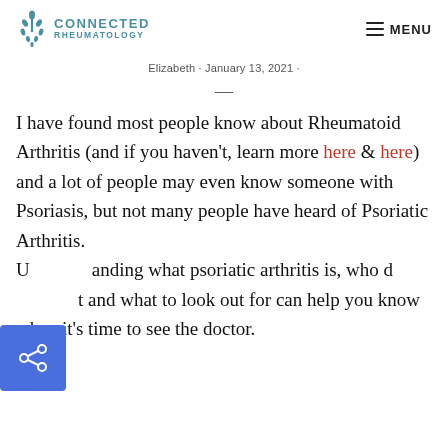CONNECTED RHEUMATOLOGY  ≡ MENU
Elizabeth · January 13, 2021 ·
—
I have found most people know about Rheumatoid Arthritis (and if you haven't, learn more here & here) and a lot of people may even know someone with Psoriasis, but not many people have heard of Psoriatic Arthritis. Understanding what psoriatic arthritis is, who develops it and what to look out for can help you know when it's time to see the doctor.